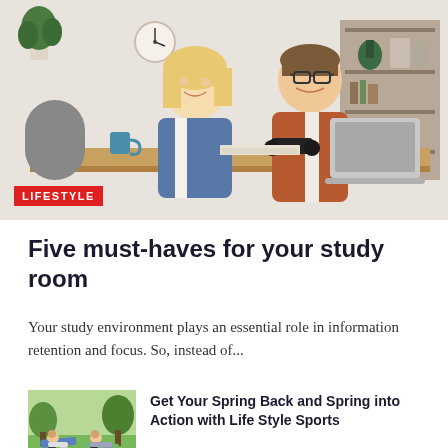[Figure (photo): Two young students, a blonde woman in a denim jacket and a young man with glasses in an orange shirt, smiling and working together at a desk with a laptop, books, and supplies. Shelves with plants visible in the background.]
LIFESTYLE
Five must-haves for your study room
Your study environment plays an essential role in information retention and focus. So, instead of...
[Figure (photo): Two women doing outdoor exercises on yoga mats on a grassy lawn.]
Get Your Spring Back and Spring into Action with Life Style Sports